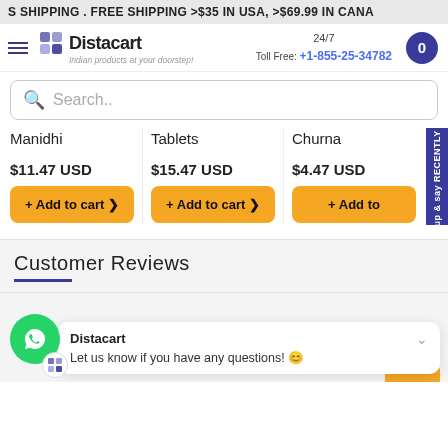S SHIPPING . FREE SHIPPING >$35 IN USA, >$69.99 IN CANA
[Figure (logo): Distacart logo with tagline 'Indian products at your doorstep!']
24/7
Toll Free: +1-855-25-34782
Search..
Manidhi  Tablets  Churna
$11.47 USD
$15.47 USD
$4.47 USD
+ Add to cart >
+ Add to cart >
+ Add to
Sign up & say RECENTLY VIEW
Customer Reviews
Distacart
Let us know if you have any questions! 😊